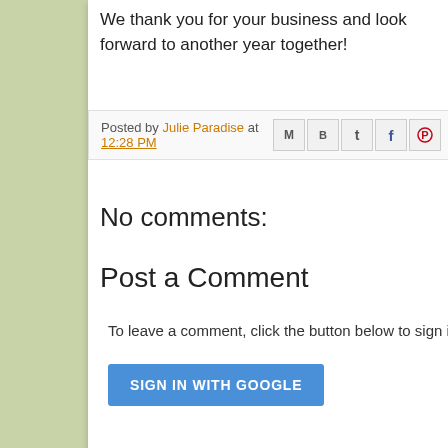We thank you for your business and look forward to another year together!
Posted by Julie Paradise at 12:28 PM
No comments:
Post a Comment
To leave a comment, click the button below to sign in
[Figure (screenshot): SIGN IN WITH GOOGLE button]
©Netvatise Inc. Website created by Netvatise